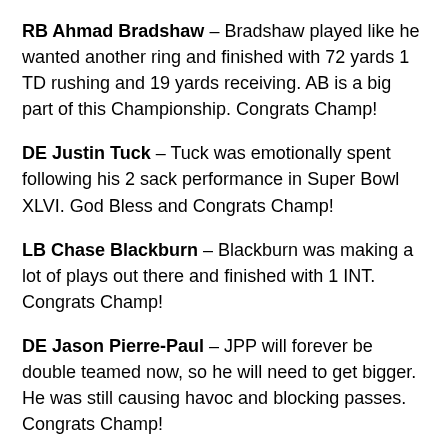RB Ahmad Bradshaw – Bradshaw played like he wanted another ring and finished with 72 yards 1 TD rushing and 19 yards receiving. AB is a big part of this Championship. Congrats Champ!
DE Justin Tuck – Tuck was emotionally spent following his 2 sack performance in Super Bowl XLVI. God Bless and Congrats Champ!
LB Chase Blackburn – Blackburn was making a lot of plays out there and finished with 1 INT. Congrats Champ!
DE Jason Pierre-Paul – JPP will forever be double teamed now, so he will need to get bigger. He was still causing havoc and blocking passes. Congrats Champ!
TE Jake Ballard – Jake Ballard was injured during the game and finished with 10 yards. Congrats Champ!